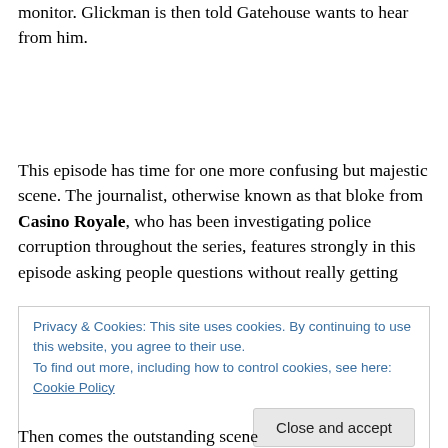monitor. Glickman is then told Gatehouse wants to hear from him.
This episode has time for one more confusing but majestic scene. The journalist, otherwise known as that bloke from Casino Royale, who has been investigating police corruption throughout the series, features strongly in this episode asking people questions without really getting
Privacy & Cookies: This site uses cookies. By continuing to use this website, you agree to their use.
To find out more, including how to control cookies, see here: Cookie Policy
Then comes the outstanding scene